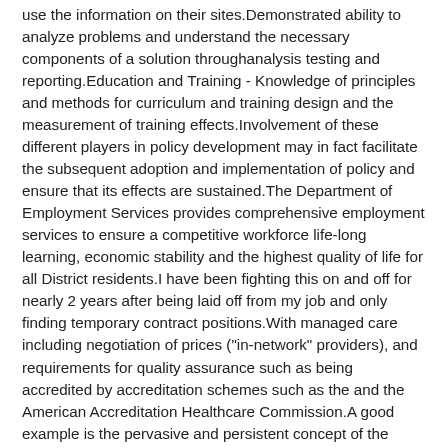use the information on their sites.Demonstrated ability to analyze problems and understand the necessary components of a solution throughanalysis testing and reporting.Education and Training - Knowledge of principles and methods for curriculum and training design and the measurement of training effects.Involvement of these different players in policy development may in fact facilitate the subsequent adoption and implementation of policy and ensure that its effects are sustained.The Department of Employment Services provides comprehensive employment services to ensure a competitive workforce life-long learning, economic stability and the highest quality of life for all District residents.I have been fighting this on and off for nearly 2 years after being laid off from my job and only finding temporary contract positions.With managed care including negotiation of prices ("in-network" providers), and requirements for quality assurance such as being accredited by accreditation schemes such as the and the American Accreditation Healthcare Commission.A good example is the pervasive and persistent concept of the (sacred marriage) of the king with the goddess of sovereignty: the sexual union which constituted the core of the royal inauguration but it remains at least implicit for many centuries in the how fast does abilify work